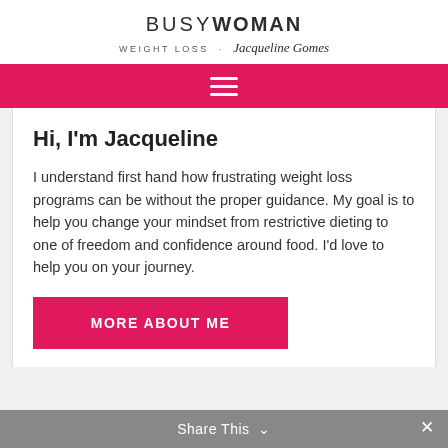BUSY WOMAN WEIGHT LOSS · Jacqueline Gomes
[Figure (other): Navigation hamburger menu icon on pink/magenta bar]
Hi, I'm Jacqueline
I understand first hand how frustrating weight loss programs can be without the proper guidance. My goal is to help you change your mindset from restrictive dieting to one of freedom and confidence around food. I'd love to help you on your journey.
MORE ABOUT ME
Share This ∨  ✕